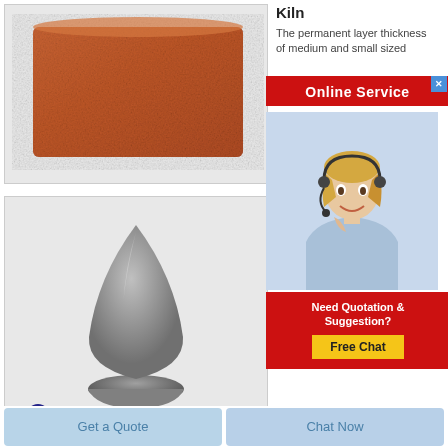[Figure (photo): A reddish-brown rectangular firebrick/refractory brick product photo on white/light gray background]
[Figure (photo): A gray powder heap formed into a cone/teardrop shape, with Rongsheng logo and brand name in top left corner]
Kiln
The permanent layer thickness of medium and small sized
[Figure (infographic): Online Service banner in red with white bold text 'Online Service', with a close X button in blue]
[Figure (photo): Customer service representative - blonde woman wearing headset, smiling]
[Figure (infographic): Red banner with text 'Need Quotation & Suggestion?' and yellow button 'Free Chat']
Get a Quote
Chat Now